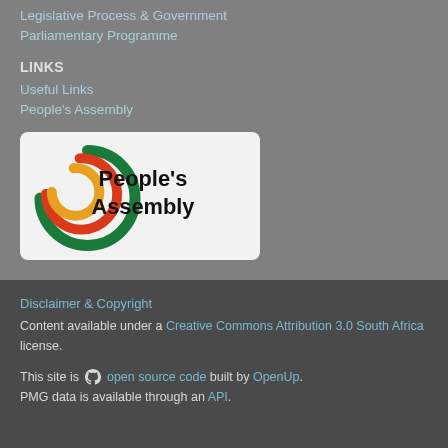Legislative Process & Government
Parliamentary Programme
LINKS
Useful Links
People's Assembly
[Figure (logo): People's Assembly logo — circular arc design in green, red, and yellow/gold with text 'People's Assembly' in black bold on a light grey background]
Disclaimer & Copyright
Content available under a Creative Commons Attribution 3.0 South Africa license.
This site is [GitHub icon] open source code built by OpenUp. PMG data is available through an API.